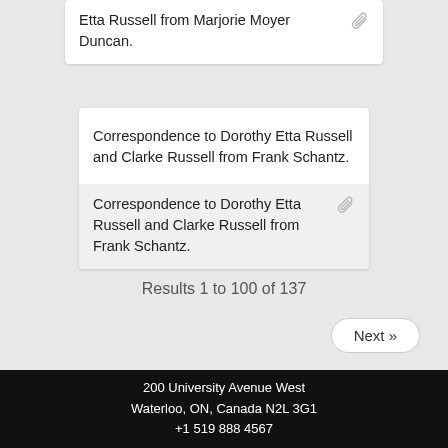Etta Russell from Marjorie Moyer Duncan.
Correspondence to Dorothy Etta Russell and Clarke Russell from Frank Schantz.
Correspondence to Dorothy Etta Russell and Clarke Russell from Frank Schantz.
Results 1 to 100 of 137
Next »
200 University Avenue West
Waterloo, ON, Canada N2L 3G1
+1 519 888 4567